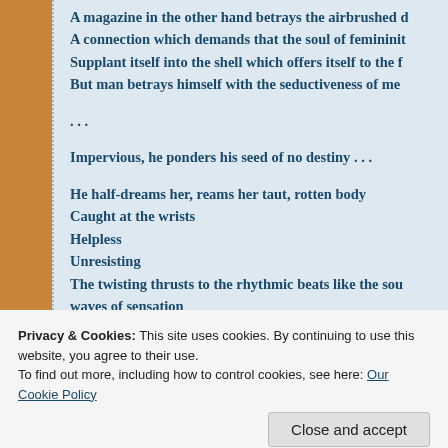A magazine in the other hand betrays the airbrushed d...
A connection which demands that the soul of femininity...
Supplant itself into the shell which offers itself to the f...
But man betrays himself with the seductiveness of me...
...
Impervious, he ponders his seed of no destiny . . .
He half-dreams her, reams her taut, rotten body
Caught at the wrists
Helpless
Unresisting
The twisting thrusts to the rhythmic beats like the sou...
waves of sensation
Abandoning himself to the abstract contact takes him o...
Further from deference to the absolute surrender he cra...
Privacy & Cookies: This site uses cookies. By continuing to use this website, you agree to their use.
To find out more, including how to control cookies, see here: Our Cookie Policy
Close and accept
babe in the foldout